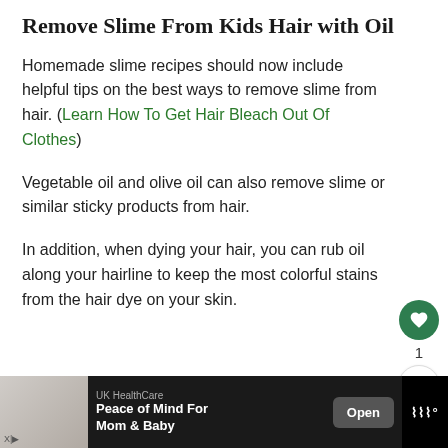Remove Slime From Kids Hair with Oil
Homemade slime recipes should now include helpful tips on the best ways to remove slime from hair. (Learn How To Get Hair Bleach Out Of Clothes)
Vegetable oil and olive oil can also remove slime or similar sticky products from hair.
In addition, when dying your hair, you can rub oil along your hairline to keep the most colorful stains from the hair dye on your skin.
[Figure (infographic): Social share panel with heart/like button showing count of 1 and a share icon]
[Figure (infographic): What's Next card showing thumbnail and link: How To Get Paint Out Of...]
[Figure (infographic): Advertisement bar at bottom: UK HealthCare - Peace of Mind For Mom & Baby - Open button]